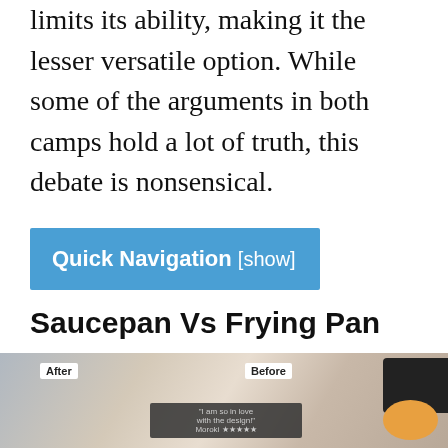limits its ability, making it the lesser versatile option. While some of the arguments in both camps hold a lot of truth, this debate is nonsensical.
Quick Navigation [show]
Saucepan Vs Frying Pan
Frying pans, earmarked by their larger cooking surfaces and
[Figure (photo): Advertisement image showing before and after room decoration photos with labels 'After' and 'Before' and promotional overlay text.]